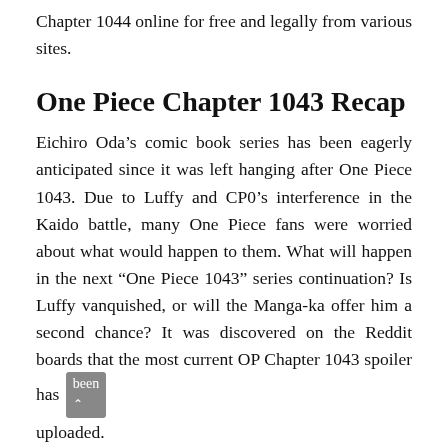Chapter 1044 online for free and legally from various sites.
One Piece Chapter 1043 Recap
Eichiro Oda's comic book series has been eagerly anticipated since it was left hanging after One Piece 1043. Due to Luffy and CP0's interference in the Kaido battle, many One Piece fans were worried about what would happen to them. What will happen in the next “One Piece 1043” series continuation? Is Luffy vanquished, or will the Manga-ka offer him a second chance? It was discovered on the Reddit boards that the most current OP Chapter 1043 spoiler has been uploaded.